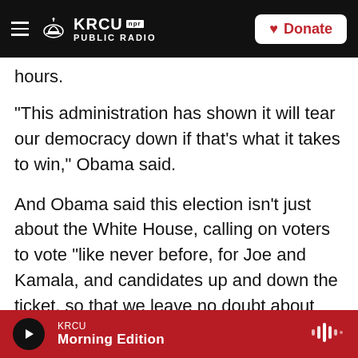[Figure (screenshot): KRCU NPR Public Radio navigation bar with hamburger menu, logo, and Donate button on dark background]
hours.
"This administration has shown it will tear our democracy down if that's what it takes to win," Obama said.
And Obama said this election isn't just about the White House, calling on voters to vote "like never before, for Joe and Kamala, and candidates up and down the ticket, so that we leave no doubt about what this country we love stands for, today and for all our days to come."
Trump was evidently watching Obama's speech. He
[Figure (screenshot): KRCU audio player bar at bottom showing Morning Edition with play button and audio wave icon]